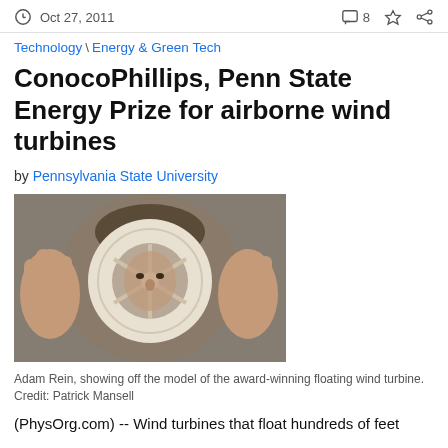Oct 27, 2011  8
Technology \ Energy & Green Tech
ConocoPhillips, Penn State Energy Prize for airborne wind turbines
by Pennsylvania State University
[Figure (photo): Adam Rein holding a ring-shaped model of the award-winning floating wind turbine prototype]
Adam Rein, showing off the model of the award-winning floating wind turbine. Credit: Patrick Mansell
(PhysOrg.com) -- Wind turbines that float hundreds of feet above the ground...